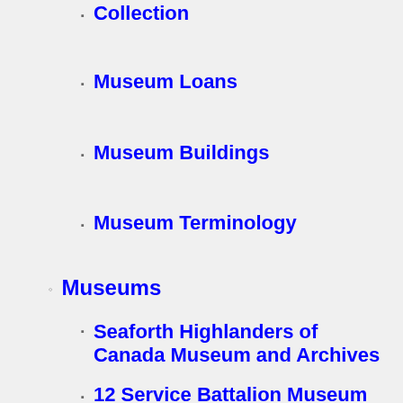Collection
Museum Loans
Museum Buildings
Museum Terminology
Museums
Seaforth Highlanders of Canada Museum and Archives
12 Service Battalion Museum
RETURN TO HOME PAGE